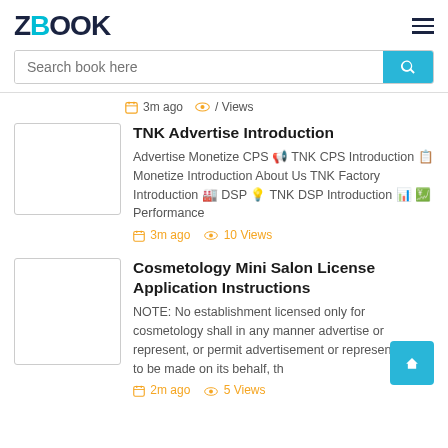ZBOOK
Search book here
3m ago / Views
TNK Advertise Introduction
Advertise Monetize CPS 광고 TNK CPS Introduction 소개합니다 Monetize Introduction About Us TNK Factory Introduction 소개합니다 DSP 광고 TNK DSP Introduction 광고주 여러분 Performance
3m ago 10 Views
Cosmetology Mini Salon License Application Instructions
NOTE: No establishment licensed only for cosmetology shall in any manner advertise or represent, or permit advertisement or representation to be made on its behalf, th
2m ago 5 Views